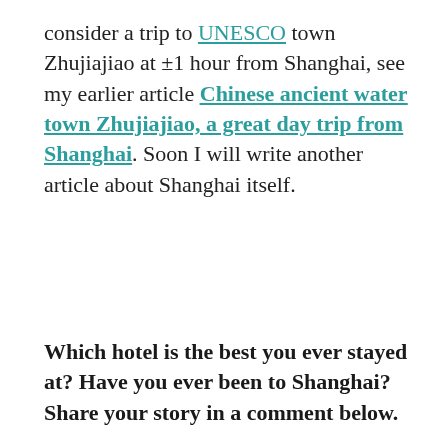consider a trip to UNESCO town Zhujiajiao at ±1 hour from Shanghai, see my earlier article Chinese ancient water town Zhujiajiao, a great day trip from Shanghai. Soon I will write another article about Shanghai itself.
Which hotel is the best you ever stayed at? Have you ever been to Shanghai? Share your story in a comment below.